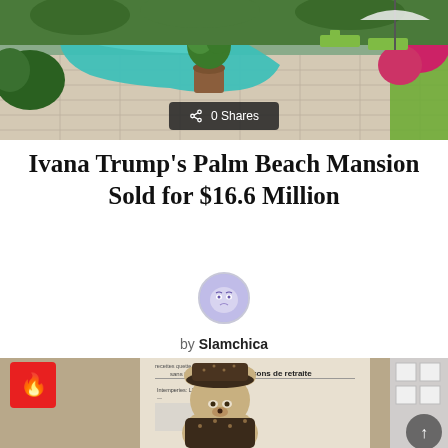[Figure (photo): Outdoor swimming pool with irregular shape, potted tree in center, tropical plants surrounding paved patio area with lounge chairs]
Ivana Trump's Palm Beach Mansion Sold for $16.6 Million
by Slamchica
8 years ago
[Figure (photo): Teddy bear wearing Louis Vuitton hat and outfit, posed in front of a French newspaper, with framed pictures in background]